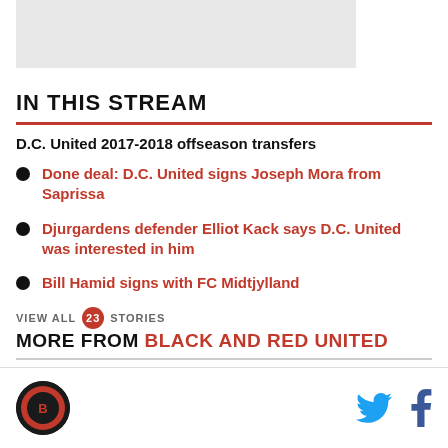[Figure (other): Placeholder/banner image at top]
IN THIS STREAM
D.C. United 2017-2018 offseason transfers
Done deal: D.C. United signs Joseph Mora from Saprissa
Djurgardens defender Elliot Kack says D.C. United was interested in him
Bill Hamid signs with FC Midtjylland
VIEW ALL 23 STORIES
MORE FROM BLACK AND RED UNITED
[Figure (logo): Black and Red United logo circle at bottom left]
[Figure (other): Twitter and Facebook social icons at bottom right]